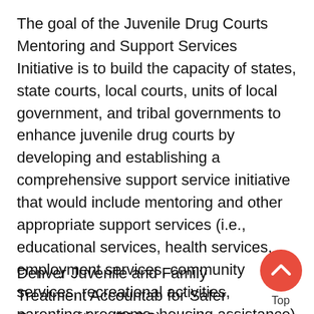The goal of the Juvenile Drug Courts Mentoring and Support Services Initiative is to build the capacity of states, state courts, local courts, units of local government, and tribal governments to enhance juvenile drug courts by developing and establishing a comprehensive support service initiative that would include mentoring and other appropriate support services (i.e., educational services, health services, employment services, community services, recreational activities, parenting programs, housing assistance) to serve substance-abusing youth who are assigned to the juvenile drug court program. This program is authorized under 42 U.S.C. 3797u.
Denver Juvenile and Family Treatment Accountab for Safer Communities (TASC), which serves as th substance abuse and mental health component f